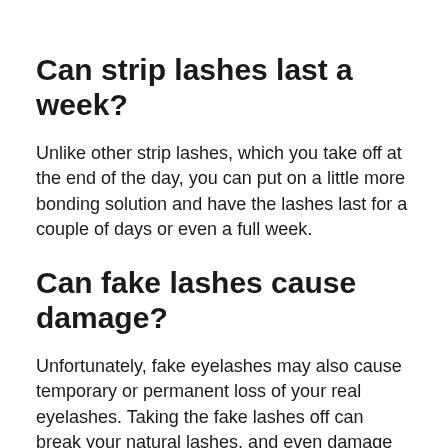Can strip lashes last a week?
Unlike other strip lashes, which you take off at the end of the day, you can put on a little more bonding solution and have the lashes last for a couple of days or even a full week.
Can fake lashes cause damage?
Unfortunately, fake eyelashes may also cause temporary or permanent loss of your real eyelashes. Taking the fake lashes off can break your natural lashes, and even damage